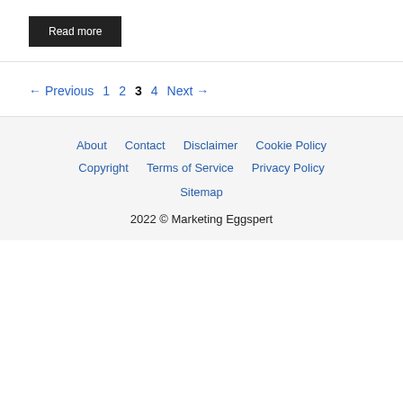The B2B marketing practices call it...
Read more
← Previous  1  2  3  4  Next →
About  Contact  Disclaimer  Cookie Policy  Copyright  Terms of Service  Privacy Policy  Sitemap  2022 © Marketing Eggspert